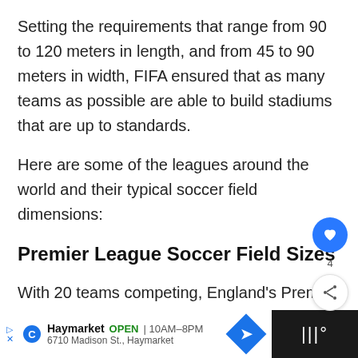Setting the requirements that range from 90 to 120 meters in length, and from 45 to 90 meters in width, FIFA ensured that as many teams as possible are able to build stadiums that are up to standards.
Here are some of the leagues around the world and their typical soccer field dimensions:
Premier League Soccer Field Sizes
With 20 teams competing, England's Premier League is one of the most interesting soccer
[Figure (other): Mobile ad banner at bottom showing Haymarket store, open 10AM-8PM, 6710 Madison St., Haymarket with navigation icons]